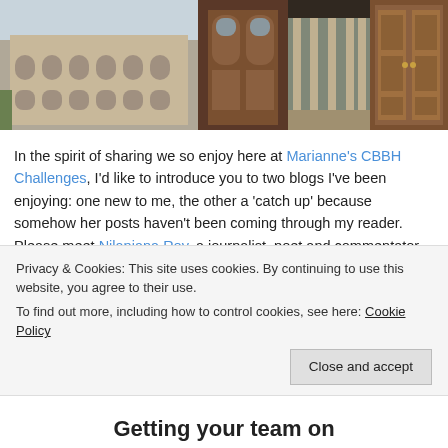[Figure (photo): Strip of four photos: large neoclassical building with arched windows, ornate wooden double doors, indoor colonnade/corridor, wooden panelled double doors]
In the spirit of sharing we so enjoy here at Marianne's CBBH Challenges, I'd like to introduce you to two blogs I've been enjoying:  one new to me, the other a 'catch up' because somehow her posts haven't been coming through my reader.  Please meet Nilanjana Roy, a journalist, poet and commentator from India, and Cheryl, About Elephants, a writer, photographer and watcher of elephants in Botswana's Okavango Delta.  These two women are linked by the power of their words – I think you'll find both blogs interesting, to say the least.
Privacy & Cookies: This site uses cookies. By continuing to use this website, you agree to their use.
To find out more, including how to control cookies, see here: Cookie Policy
Getting your team on